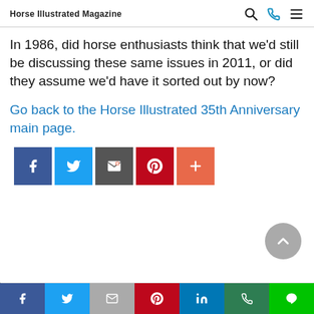Horse Illustrated Magazine
In 1986, did horse enthusiasts think that we'd still be discussing these same issues in 2011, or did they assume we'd have it sorted out by now?
Go back to the Horse Illustrated 35th Anniversary main page.
[Figure (other): Social share buttons: Facebook, Twitter, Email, Pinterest, More]
[Figure (other): Back to top circular button with upward arrow]
Social share bar: Facebook, Twitter, Email, Pinterest, LinkedIn, WhatsApp, LINE